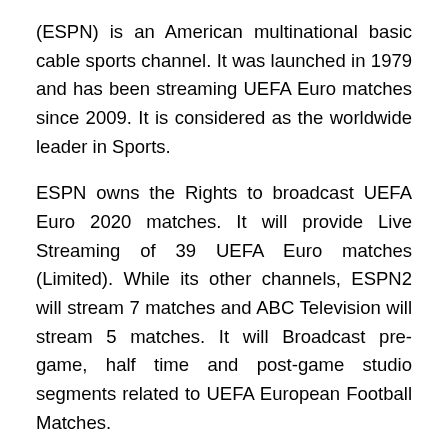(ESPN) is an American multinational basic cable sports channel. It was launched in 1979 and has been streaming UEFA Euro matches since 2009. It is considered as the worldwide leader in Sports.
ESPN owns the Rights to broadcast UEFA Euro 2020 matches. It will provide Live Streaming of 39 UEFA Euro matches (Limited). While its other channels, ESPN2 will stream 7 matches and ABC Television will stream 5 matches. It will Broadcast pre-game, half time and post-game studio segments related to UEFA European Football Matches.
Fubo TV
Fubo TV is a paid service that broadcast Live TV over the Internet. It does not require cable for its